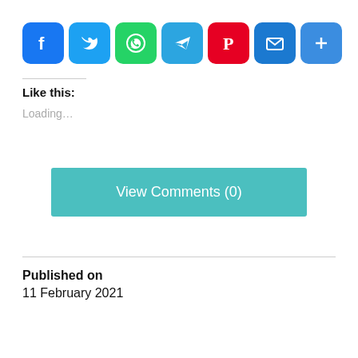[Figure (other): Social sharing icons row: Facebook (blue), Twitter (light blue), WhatsApp (green), Telegram (cyan-blue), Pinterest (red), Email (blue), More/Share (blue)]
Like this:
Loading...
View Comments (0)
Published on
11 February 2021